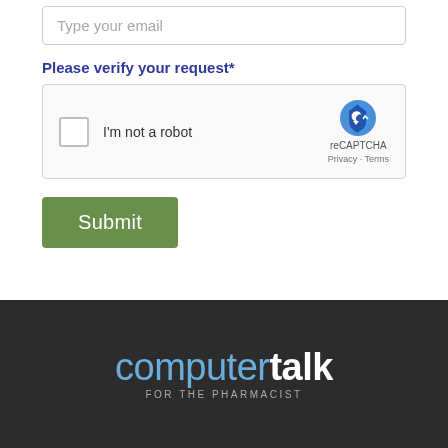Type your email
Please verify your request*
[Figure (screenshot): reCAPTCHA widget with checkbox 'I'm not a robot' and reCAPTCHA logo with Privacy and Terms links]
Submit
[Figure (logo): Computer Talk for the Pharmacist logo on dark background]